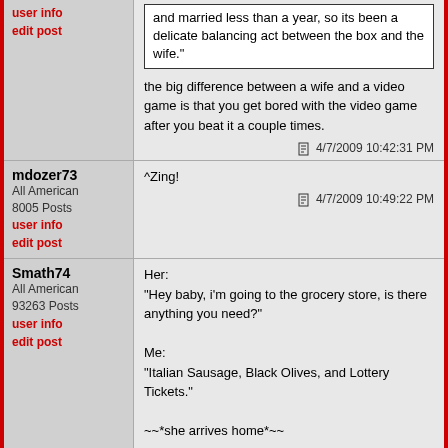user info
edit post
and married less than a year, so its been a delicate balancing act between the box and the wife."
the big difference between a wife and a video game is that you get bored with the video game after you beat it a couple times.
4/7/2009 10:42:31 PM
mdozer73
All American
8005 Posts
user info
edit post
^Zing!
4/7/2009 10:49:22 PM
Smath74
All American
93263 Posts
user info
edit post
Her:
"Hey baby, i'm going to the grocery store, is there anything you need?"

Me:
"Italian Sausage, Black Olives, and Lottery Tickets."

~~*she arrives home*~~

Me:
"Hey, I can't find my Italian Sausage"

Her:
"Oh oops, I forgot it."